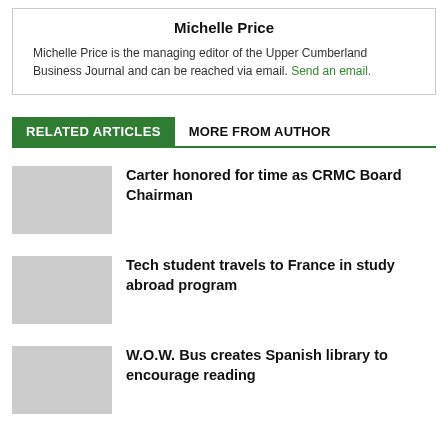Michelle Price
Michelle Price is the managing editor of the Upper Cumberland Business Journal and can be reached via email. Send an email.
RELATED ARTICLES   MORE FROM AUTHOR
Carter honored for time as CRMC Board Chairman
Tech student travels to France in study abroad program
W.O.W. Bus creates Spanish library to encourage reading